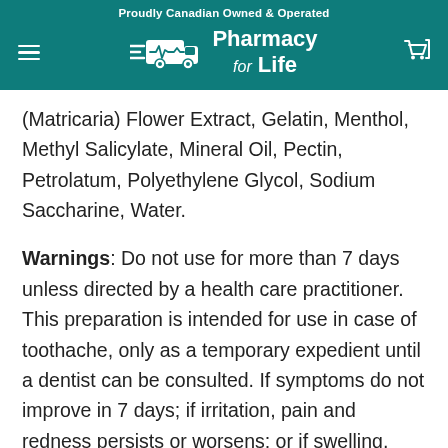Proudly Canadian Owned & Operated
[Figure (logo): Pharmacy for Life logo with delivery truck icon on teal background]
(Matricaria) Flower Extract, Gelatin, Menthol, Methyl Salicylate, Mineral Oil, Pectin, Petrolatum, Polyethylene Glycol, Sodium Saccharine, Water.
Warnings: Do not use for more than 7 days unless directed by a health care practitioner. This preparation is intended for use in case of toothache, only as a temporary expedient until a dentist can be consulted. If symptoms do not improve in 7 days; if irritation, pain and redness persists or worsens; or if swelling, rash or fever